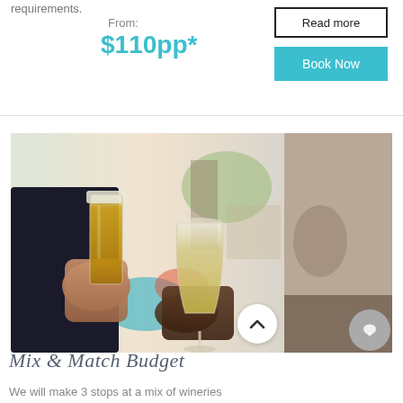requirements.
From:
$110pp*
Read more
Book Now
[Figure (photo): Two people holding drinks (beer and wine glass) at an outdoor venue, clinking glasses]
Mix & Match Budget
We will make 3 stops at a mix of wineries